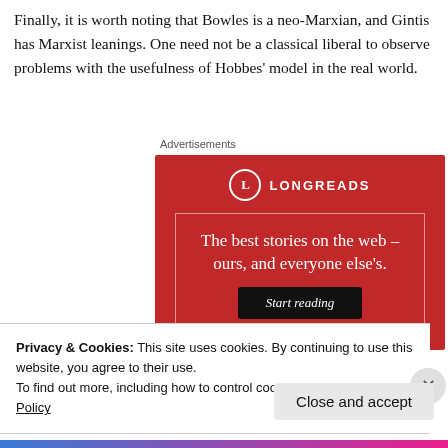Finally, it is worth noting that Bowles is a neo-Marxian, and Gintis has Marxist leanings. One need not be a classical liberal to observe problems with the usefulness of Hobbes' model in the real world.
Advertisements
[Figure (other): Longreads advertisement: red background with Longreads logo (circle with L), tagline 'The best stories on the web – ours, and everyone else's.' with a black 'Start reading' button.]
Privacy & Cookies: This site uses cookies. By continuing to use this website, you agree to their use.
To find out more, including how to control cookies, see here: Cookie Policy
Close and accept